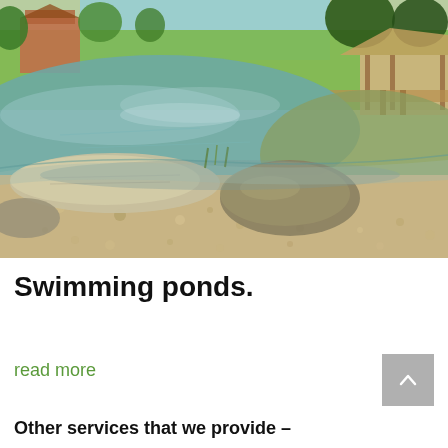[Figure (photo): Outdoor natural swimming pond with large flat rocks and gravel shore in the foreground, clear shallow water, green trees and brick buildings visible in the background, with a wooden dock structure on the right.]
Swimming ponds.
read more
Other services that we provide –